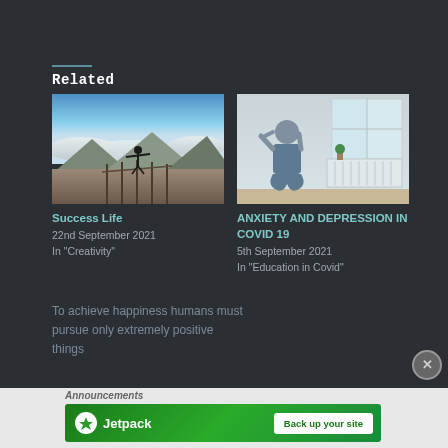Related
[Figure (photo): Person standing with arms outstretched on a viewpoint above mountains and clouds]
Success Life
22nd September 2021
In "Creativity"
[Figure (photo): Person sitting with head in hands near a window, looking distressed]
ANXIETY AND DEPRESSION IN COVID 19
5th September 2021
In "Education in Covid"
To achieve happiness humans must pursue only extremely positive things
Announcements
[Figure (other): Jetpack advertisement banner with logo and Back up your site button]